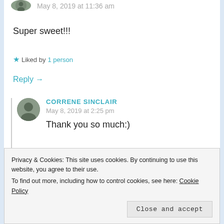May 8, 2019 at 11:36 am
Super sweet!!!
★ Liked by 1 person
Reply →
CORRENE SINCLAIR
May 8, 2019 at 2:25 pm
Thank you so much:)
Privacy & Cookies: This site uses cookies. By continuing to use this website, you agree to their use.
To find out more, including how to control cookies, see here: Cookie Policy
Close and accept